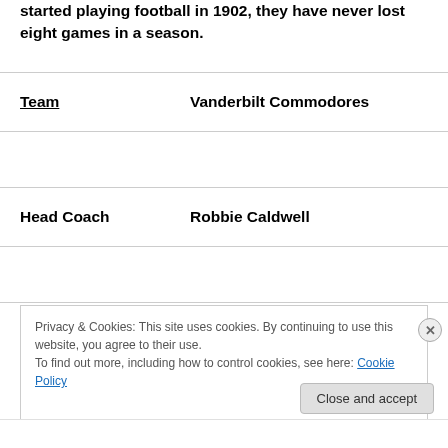started playing football in 1902, they have never lost eight games in a season.
| Team | Vanderbilt Commodores |
| --- | --- |
| Head Coach | Robbie Caldwell |
| Colors | Black and Gold |
Privacy & Cookies: This site uses cookies. By continuing to use this website, you agree to their use.
To find out more, including how to control cookies, see here: Cookie Policy